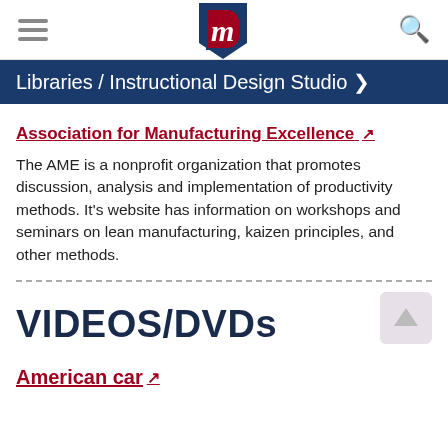[Figure (logo): University logo with Gothic M letter in red and blue, hamburger menu icon on left, search icon on right]
Libraries / Instructional Design Studio ›
Association for Manufacturing Excellence ↗
The AME is a nonprofit organization that promotes discussion, analysis and implementation of productivity methods. It's website has information on workshops and seminars on lean manufacturing, kaizen principles, and other methods.
VIDEOS/DVDs
American car ↗